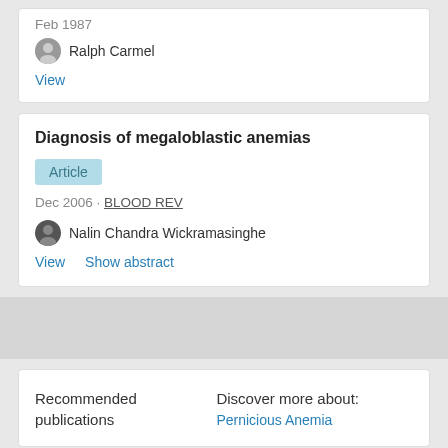Feb 1987
Ralph Carmel
View
Diagnosis of megaloblastic anemias
Article
Dec 2006 · BLOOD REV
Nalin Chandra Wickramasinghe
View    Show abstract
Recommended publications
Discover more about: Pernicious Anemia